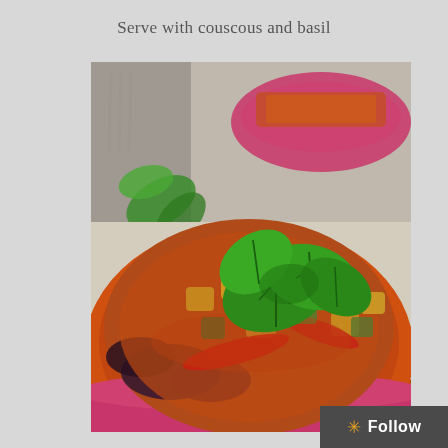Serve with couscous and basil
[Figure (photo): A close-up food photograph of a ratatouille or vegetable stew served in a round orange ceramic bowl with a pink/magenta rim, garnished with fresh green basil leaves on top. The bowl contains chunky vegetables including tomatoes, zucchini, eggplant, and yellow squash in a tomato sauce. In the blurred background there is a second smaller pink bowl with the same dish, a fork, and additional basil leaves on a light linen surface.]